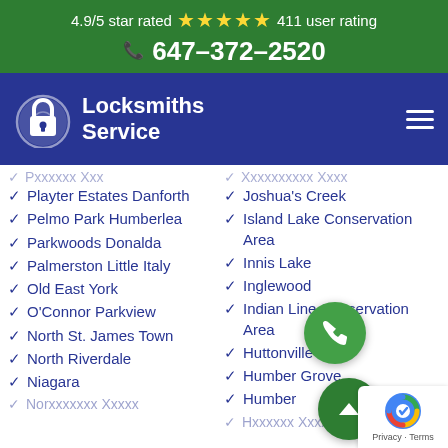4.9/5 star rated ★★★★★ 411 user rating
☎ 647-372-2520
[Figure (logo): Locksmiths Service logo with padlock icon and white text on dark blue background, and hamburger menu icon]
Playter Estates Danforth
Pelmo Park Humberlea
Parkwoods Donalda
Palmerston Little Italy
Old East York
O'Connor Parkview
North St. James Town
North Riverdale
Niagara
Joshua's Creek
Island Lake Conservation Area
Innis Lake
Inglewood
Indian Line Conservation Area
Huttonville
Humber Grove
Humber